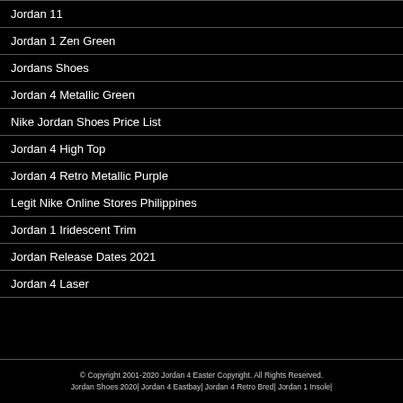Jordan 11
Jordan 1 Zen Green
Jordans Shoes
Jordan 4 Metallic Green
Nike Jordan Shoes Price List
Jordan 4 High Top
Jordan 4 Retro Metallic Purple
Legit Nike Online Stores Philippines
Jordan 1 Iridescent Trim
Jordan Release Dates 2021
Jordan 4 Laser
© Copyright 2001-2020 Jordan 4 Easter Copyright. All Rights Reserved. Jordan Shoes 2020| Jordan 4 Eastbay| Jordan 4 Retro Bred| Jordan 1 Insole|